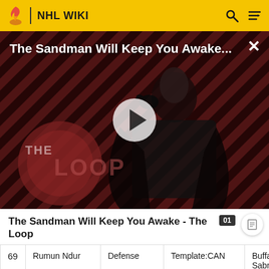NHL WIKI
[Figure (screenshot): Video thumbnail for 'The Sandman Will Keep You Awake...' showing a dark-cloaked figure with a crow, diagonal red/black striped background, THE LOOP logo overlay, with a play button in the center.]
The Sandman Will Keep You Awake - The Loop
| # | Name | Position | Nationality | Team |
| --- | --- | --- | --- | --- |
| 69 | Rumun Ndur | Defense | Template:CAN | Buffalo Sabres |
| 70 | Marko ... | Defense | Template:FIN | Montre... |